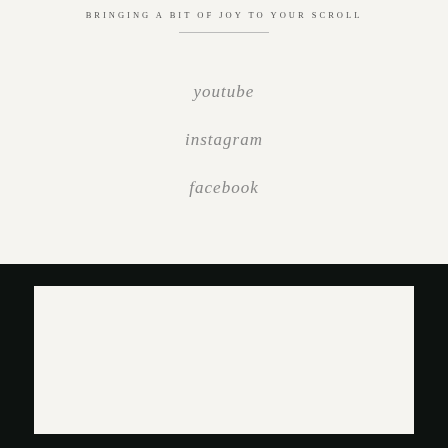BRINGING A BIT OF JOY TO YOUR SCROLL
youtube
instagram
facebook
[Figure (screenshot): Dark black footer section with a large white/cream rectangle inset]